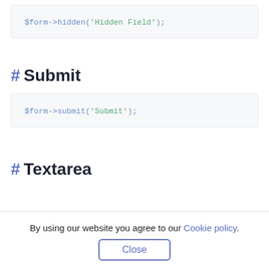[Figure (screenshot): Code block showing: $form->hidden('Hidden Field');]
# Submit
[Figure (screenshot): Code block showing: $form->submit('Submit');]
# Textarea
By using our website you agree to our Cookie policy.
Close